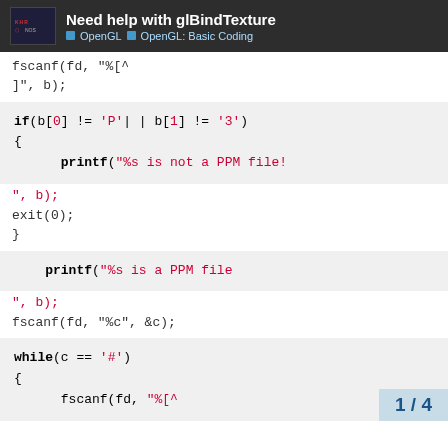Need help with glBindTexture | OpenGL | OpenGL: Basic Coding
fscanf(fd, "%[^
]", b);
[Figure (screenshot): Code block showing: if(b[0] != 'P'| | b[1] != '3') { printf("%s is not a PPM file!]
", b);
exit(0);
}
[Figure (screenshot): Code block showing: printf("%s is a PPM file]
", b);
fscanf(fd, "%c", &c);
[Figure (screenshot): Code block showing: while(c == '#') {
    fscanf(fd, "%[^]
1 / 4